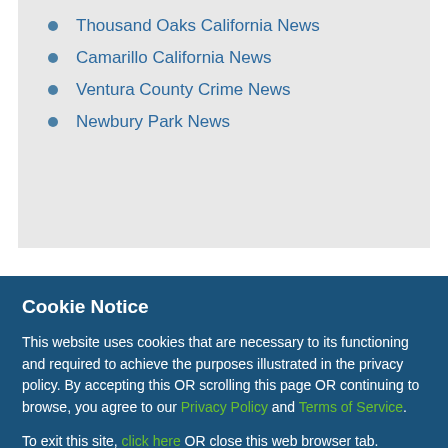Thousand Oaks California News
Camarillo California News
Ventura County Crime News
Newbury Park News
Cookie Notice
This website uses cookies that are necessary to its functioning and required to achieve the purposes illustrated in the privacy policy. By accepting this OR scrolling this page OR continuing to browse, you agree to our Privacy Policy and Terms of Service.
To exit this site, click here OR close this web browser tab.